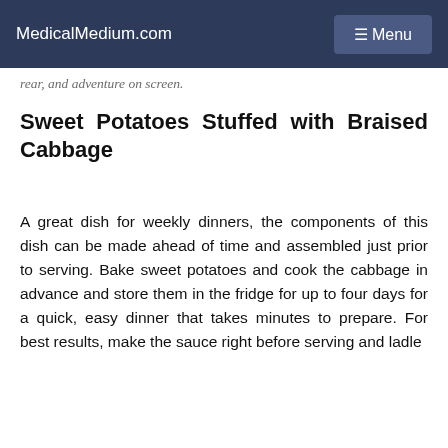MedicalMedium.com   ☰ Menu
rear, and adventure on screen.
Sweet Potatoes Stuffed with Braised Cabbage
A great dish for weekly dinners, the components of this dish can be made ahead of time and assembled just prior to serving. Bake sweet potatoes and cook the cabbage in advance and store them in the fridge for up to four days for a quick, easy dinner that takes minutes to prepare. For best results, make the sauce right before serving and ladle